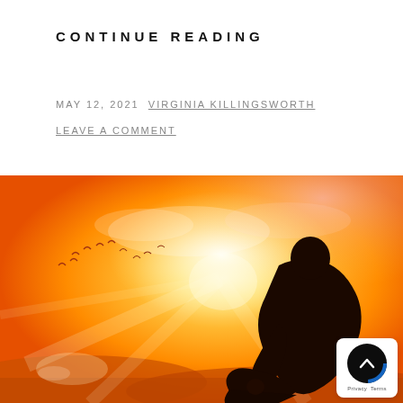CONTINUE READING
MAY 12, 2021  VIRGINIA KILLINGSWORTH
LEAVE A COMMENT
[Figure (photo): Silhouette of a person kneeling in prayer against a bright golden sunset with birds flying in the background and orange/yellow glowing sky]